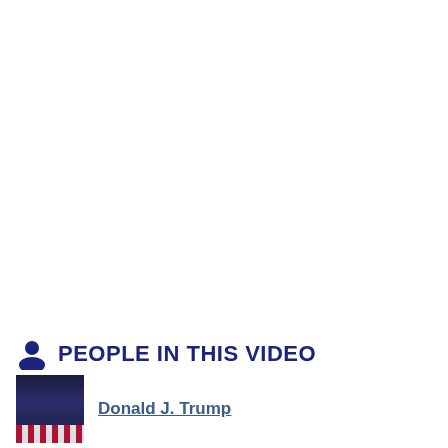PEOPLE IN THIS VIDEO
Donald J. Trump